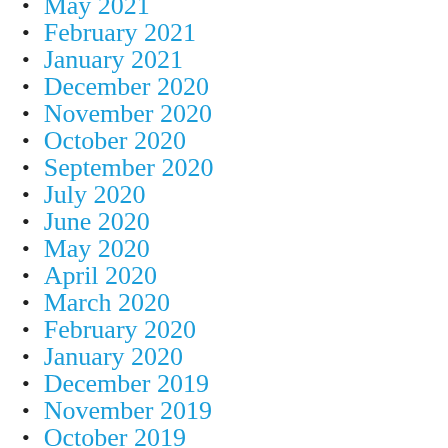May 2021
February 2021
January 2021
December 2020
November 2020
October 2020
September 2020
July 2020
June 2020
May 2020
April 2020
March 2020
February 2020
January 2020
December 2019
November 2019
October 2019